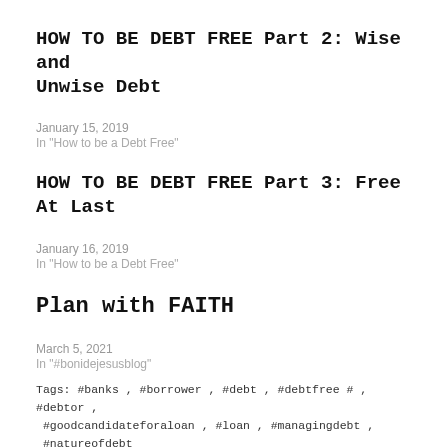HOW TO BE DEBT FREE Part 2: Wise and Unwise Debt
January 15, 2019
In "How to be a Debt Free"
HOW TO BE DEBT FREE Part 3: Free At Last
January 16, 2019
In "How to be a Debt Free"
Plan with FAITH
March 5, 2021
In "#bonidejesusblog"
Tags: #banks , #borrower , #debt , #debtfree # , #debtor , #goodcandidateforaloan , #loan , #managingdebt , #natureofdebt